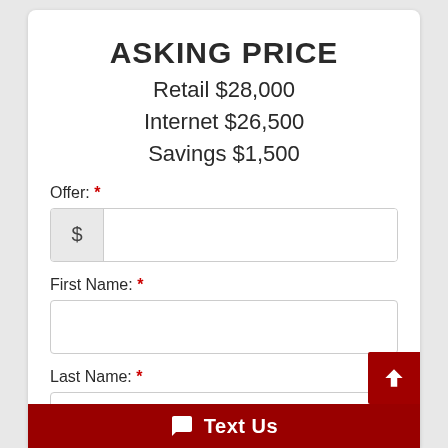ASKING PRICE
Retail $28,000
Internet $26,500
Savings $1,500
Offer: *
First Name: *
Last Name: *
Phone: *
Text Us